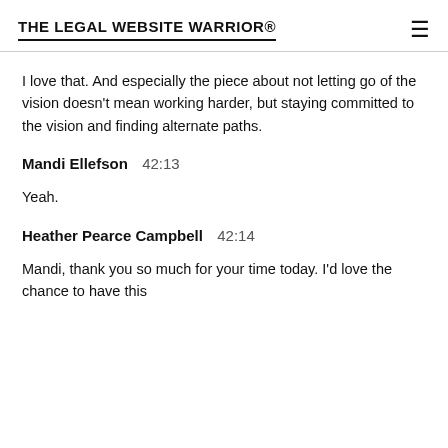THE LEGAL WEBSITE WARRIOR®
I love that. And especially the piece about not letting go of the vision doesn't mean working harder, but staying committed to the vision and finding alternate paths.
Mandi Ellefson  42:13
Yeah.
Heather Pearce Campbell  42:14
Mandi, thank you so much for your time today. I'd love the chance to have this